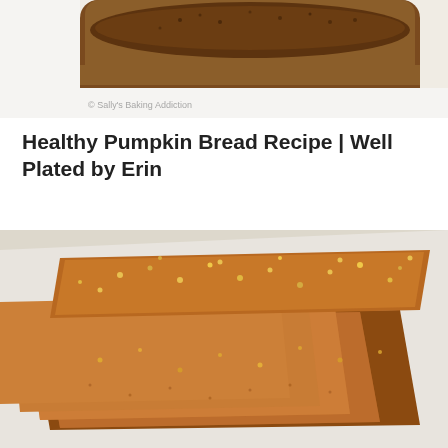[Figure (photo): Close-up top-down photo of a dark pumpkin bread loaf with golden-brown crust, partially cut. Watermark text visible: '© Sally's Baking Addiction']
Healthy Pumpkin Bread Recipe | Well Plated by Erin
[Figure (photo): Close-up overhead photo of sliced pumpkin bread showing multiple thick slices fanned out on white parchment paper. The bread has a dense, moist, golden-orange crumb with visible seeds/quinoa sprinkled on top.]